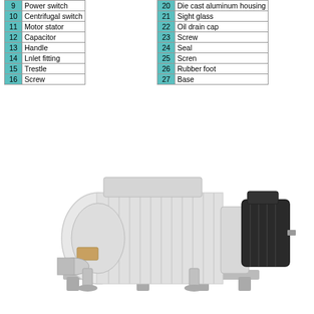| No. | Part |
| --- | --- |
| 9 | Power switch |
| 10 | Centrifugal switch |
| 11 | Motor stator |
| 12 | Capacitor |
| 13 | Handle |
| 14 | Lnlet fitting |
| 15 | Trestle |
| 16 | Screw |
| No. | Part |
| --- | --- |
| 20 | Die cast aluminum housing |
| 21 | Sight glass |
| 22 | Oil drain cap |
| 23 | Screw |
| 24 | Seal |
| 25 | Scren |
| 26 | Rubber foot |
| 27 | Base |
[Figure (photo): Industrial vacuum pump (Roots blower) with large white cylindrical pump body on the left and a black electric motor on the right, mounted on a base frame.]